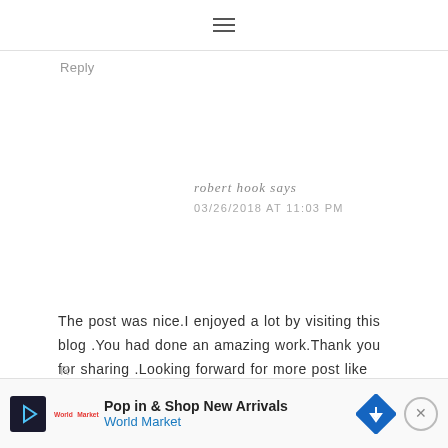≡
Reply
robert hook says
03/26/2018 AT 11:03 PM
The post was nice.I enjoyed a lot by visiting this blog .You had done an amazing work.Thank you for sharing .Looking forward for more post like this .
[Figure (infographic): Advertisement banner: Pop in & Shop New Arrivals - World Market, with navigation arrow icon and close button]